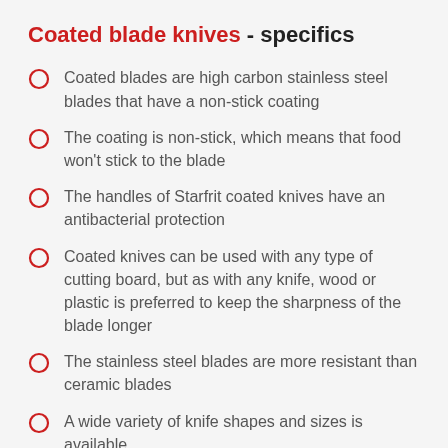Coated blade knives - specifics
Coated blades are high carbon stainless steel blades that have a non-stick coating
The coating is non-stick, which means that food won't stick to the blade
The handles of Starfrit coated knives have an antibacterial protection
Coated knives can be used with any type of cutting board, but as with any knife, wood or plastic is preferred to keep the sharpness of the blade longer
The stainless steel blades are more resistant than ceramic blades
A wide variety of knife shapes and sizes is available